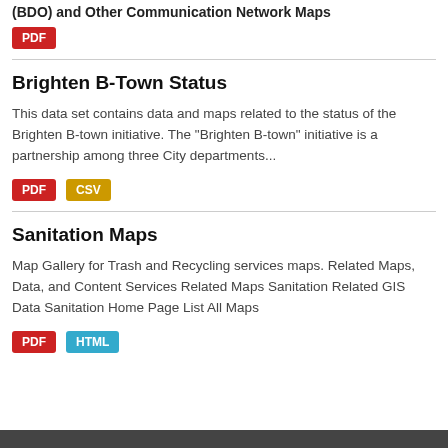(BDO) and Other Communication Network Maps
PDF
Brighten B-Town Status
This data set contains data and maps related to the status of the Brighten B-town initiative. The “Brighten B-town” initiative is a partnership among three City departments...
PDF CSV
Sanitation Maps
Map Gallery for Trash and Recycling services maps. Related Maps, Data, and Content Services Related Maps Sanitation Related GIS Data Sanitation Home Page List All Maps
PDF HTML